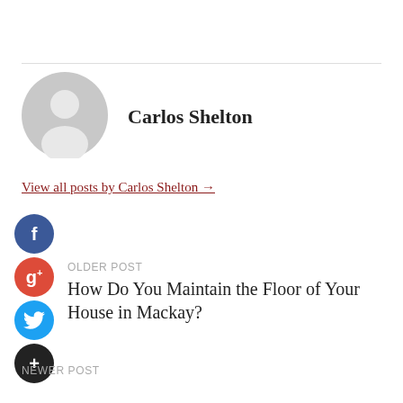[Figure (illustration): Gray circular avatar/profile placeholder icon with a silhouette of a person]
Carlos Shelton
View all posts by Carlos Shelton →
[Figure (logo): Facebook social share button - blue circle with white 'f' letter]
[Figure (logo): Google+ social share button - red circle with white 'g+' letter]
[Figure (logo): Twitter social share button - blue circle with white bird icon]
[Figure (logo): Add/plus social share button - dark circle with white '+' letter]
OLDER POST
How Do You Maintain the Floor of Your House in Mackay?
NEWER POST